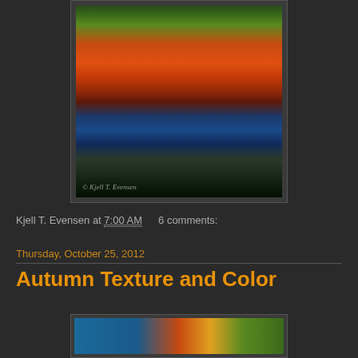[Figure (photo): Autumn foliage reflected in water, vibrant orange and red trees with blue water reflections, photo by Kjell T. Evensen]
Kjell T. Evensen at 7:00 AM   6 comments:
Thursday, October 25, 2012
Autumn Texture and Color
[Figure (photo): Partial thumbnail of another autumn photo at bottom of page]